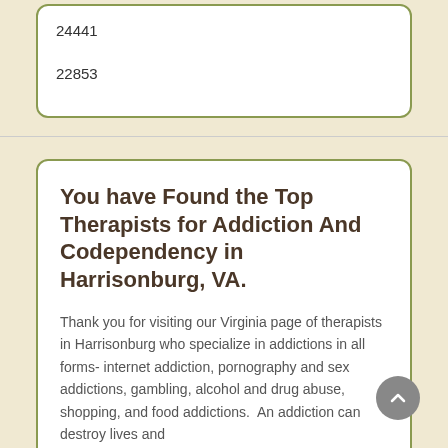24441
22853
You have Found the Top Therapists for Addiction And Codependency in Harrisonburg, VA.
Thank you for visiting our Virginia page of therapists in Harrisonburg who specialize in addictions in all forms- internet addiction, pornography and sex addictions, gambling, alcohol and drug abuse, shopping, and food addictions.  An addiction can destroy lives and